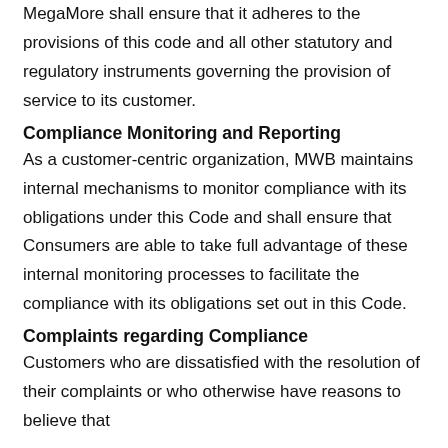MegaMore shall ensure that it adheres to the provisions of this code and all other statutory and regulatory instruments governing the provision of service to its customer.
Compliance Monitoring and Reporting
As a customer-centric organization, MWB maintains internal mechanisms to monitor compliance with its obligations under this Code and shall ensure that Consumers are able to take full advantage of these internal monitoring processes to facilitate the compliance with its obligations set out in this Code.
Complaints regarding Compliance
Customers who are dissatisfied with the resolution of their complaints or who otherwise have reasons to believe that